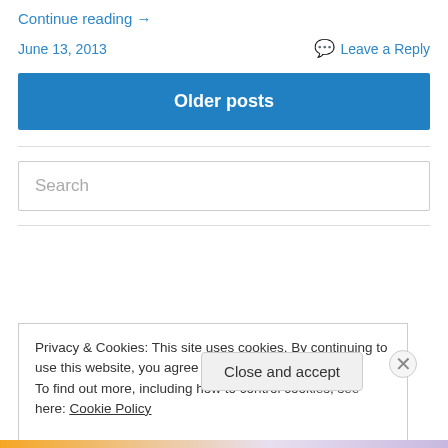Continue reading →
June 13, 2013    Leave a Reply
Older posts
Search
Privacy & Cookies: This site uses cookies. By continuing to use this website, you agree to their use.
To find out more, including how to control cookies, see here: Cookie Policy
Close and accept